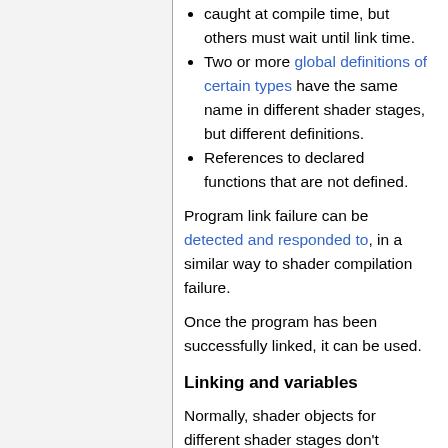caught at compile time, but others must wait until link time.
Two or more global definitions of certain types have the same name in different shader stages, but different definitions.
References to declared functions that are not defined.
Program link failure can be detected and responded to, in a similar way to shader compilation failure.
Once the program has been successfully linked, it can be used.
Linking and variables
Normally, shader objects for different shader stages don't interact. Each shader stage's code is separate from others. They have their own global variables, their own functions, etc.